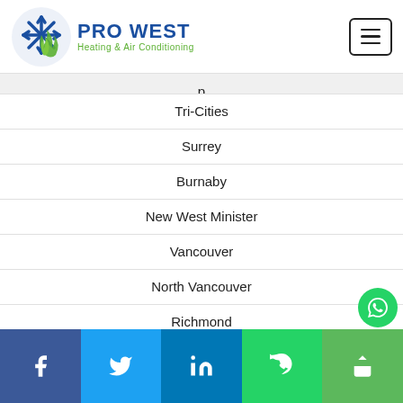[Figure (logo): Pro West Heating & Air Conditioning logo with snowflake and flame icon]
p (partially visible, cut off)
Tri-Cities
Surrey
Burnaby
New West Minister
Vancouver
North Vancouver
Richmond
Facebook | Twitter | LinkedIn | WhatsApp | Share